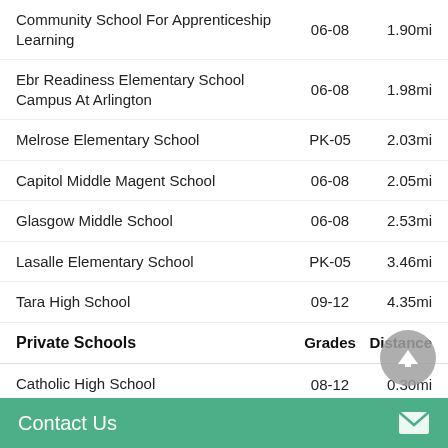Community School For Apprenticeship Learning | 06-08 | 1.90mi
Ebr Readiness Elementary School Campus At Arlington | 06-08 | 1.98mi
Melrose Elementary School | PK-05 | 2.03mi
Capitol Middle Magent School | 06-08 | 2.05mi
Glasgow Middle School | 06-08 | 2.53mi
Lasalle Elementary School | PK-05 | 3.46mi
Tara High School | 09-12 | 4.35mi
Private Schools | Grades | Distance
Catholic High School | 08-12 | 0.30mi
Louisiana New School Academy | 05-12 | 0.60mi
Contact Us